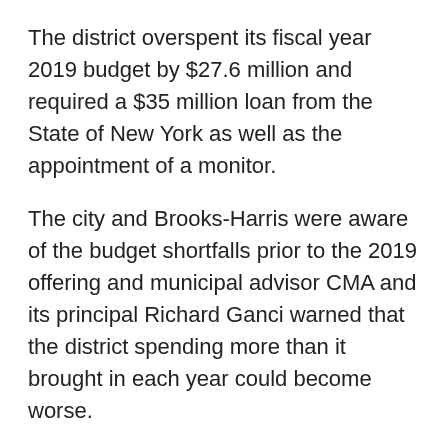The district overspent its fiscal year 2019 budget by $27.6 million and required a $35 million loan from the State of New York as well as the appointment of a monitor.
The city and Brooks-Harris were aware of the budget shortfalls prior to the 2019 offering and municipal advisor CMA and its principal Richard Ganci warned that the district spending more than it brought in each year could become worse.
“Despite this, they made no effort to investigate the extent of the overspending and made no effort to inform investors of the risks the overspending posed to the district’s finances or the city’s finances,” the SEC said.
The SEC is also seperately accusing CMA, Ganci and its other co-principal Richard Tortora with failing to disclose...